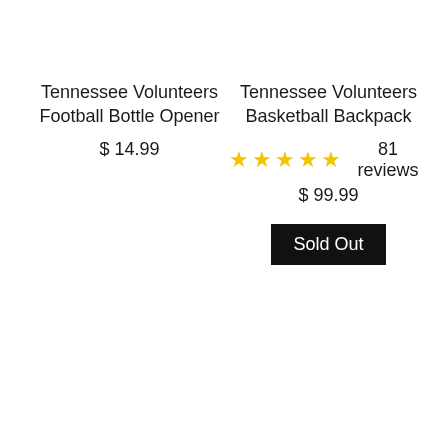Tennessee Volunteers Football Bottle Opener
$ 14.99
Tennessee Volunteers Basketball Backpack
★★★★★ 81 reviews
$ 99.99
Sold Out